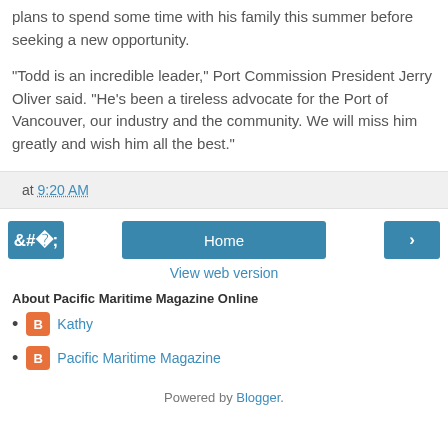plans to spend some time with his family this summer before seeking a new opportunity.
“Todd is an incredible leader,” Port Commission President Jerry Oliver said. “He’s been a tireless advocate for the Port of Vancouver, our industry and the community. We will miss him greatly and wish him all the best.”
at 9:20 AM
‹    Home    ›    View web version
About Pacific Maritime Magazine Online
Kathy
Pacific Maritime Magazine
Powered by Blogger.